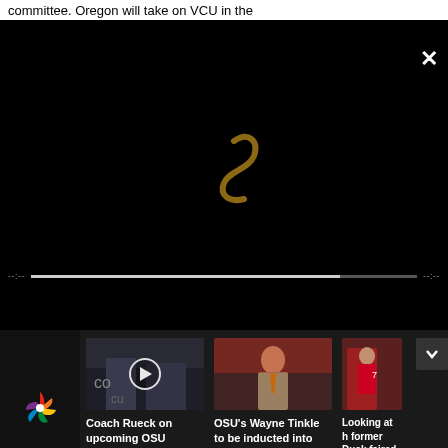committee. Oregon will take on VCU in the
[Figure (screenshot): Video player with dark background, a stylized 'S' logo in center, progress bar at bottom, and close X button at top right]
[Figure (photo): Building exterior with text 'co...' visible, play button overlay - thumbnail for 'Coach Rueck on upcoming OSU women's basketball season']
Coach Rueck on upcoming OSU women's basketball season
[Figure (photo): Man in gray suit with orange tie on basketball court sideline - OSU's Wayne Tinkle]
OSU's Wayne Tinkle to be inducted into University of Montana's Hall of Fame
[Figure (photo): Basketball player in red uniform - thumbnail for 'Looking at how former Ducks faired at the Vegas Summer League']
Looking at how former Ducks faired at the Vegas Summer League
[Figure (logo): NBC peacock logo multicolor]